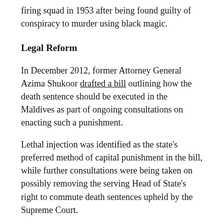firing squad in 1953 after being found guilty of conspiracy to murder using black magic.
Legal Reform
In December 2012, former Attorney General Azima Shukoor drafted a bill outlining how the death sentence should be executed in the Maldives as part of ongoing consultations on enacting such a punishment.
Lethal injection was identified as the state's preferred method of capital punishment in the bill, while further consultations were being taken on possibly removing the serving Head of State's right to commute death sentences upheld by the Supreme Court.
Earlier this year, the government of President Dr